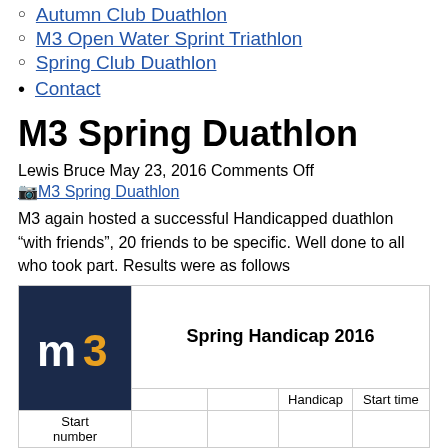Autumn Club Duathlon
M3 Open Water Sprint Triathlon
Spring Club Duathlon
Contact
M3 Spring Duathlon
Lewis Bruce May 23, 2016 Comments Off
M3 Spring Duathlon [image link]
M3 again hosted a successful Handicapped duathlon “with friends”, 20 friends to be specific. Well done to all who took part. Results were as follows
| Start number |  |  | Handicap | Start time |
| --- | --- | --- | --- | --- |
| 1 | Barbara Brown | 01:02:00 | 00:23 | 18:30:00 |
| 2 | Ursula Ryder | 01:01:00 | 00:21 | 18:31:00 |